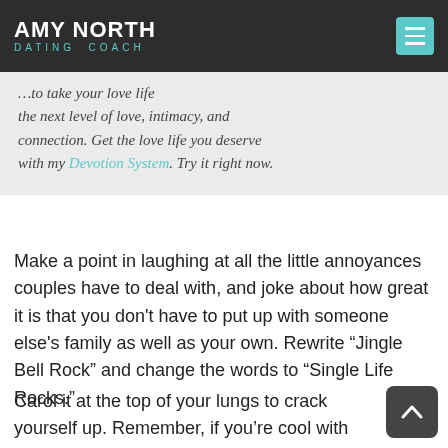AMY NORTH · DATING COACH
Not only that but also you the information, to take your love life the next level of love, intimacy, and connection. Get the love life you deserve with my Devotion System. Try it right now.
Make a point in laughing at all the little annoyances couples have to deal with, and joke about how great it is that you don't have to put up with someone else's family as well as your own. Rewrite “Jingle Bell Rock” and change the words to “Single Life Rocks.”
Carol it at the top of your lungs to crack yourself up. Remember, if you’re cool with being single right now then you’ve got nothing to worry about.